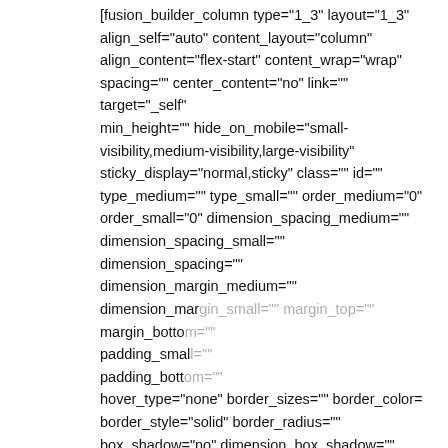[fusion_builder_column type="1_3" layout="1_3" align_self="auto" content_layout="column" align_content="flex-start" content_wrap="wrap" spacing="" center_content="no" link="" target="_self" min_height="" hide_on_mobile="small-visibility,medium-visibility,large-visibility" sticky_display="normal,sticky" class="" id="" type_medium="" type_small="" order_medium="0" order_small="0" dimension_spacing_medium="" dimension_spacing_small="" dimension_spacing="" dimension_margin_medium="" dimension_margin_small="" margin_top="" margin_bottom="" padding_small="" padding_bottom="" hover_type="none" border_sizes="" border_color="" border_style="solid" border_radius="" box_shadow="no" dimension_box_shadow="" box_shadow_blur="0" box_shadow_spread="0" box_shadow_color="" box_shadow_style=""
[Figure (screenshot): Accessibility button (dark blue circle with white person/wheelchair icon) overlaid on the left side of the page]
[Figure (screenshot): Chat popup: 'close' button top right, avatar photo of woman, text 'Hi there, have a question? Text us here.' with blue chat icon button bottom right and Terms link]